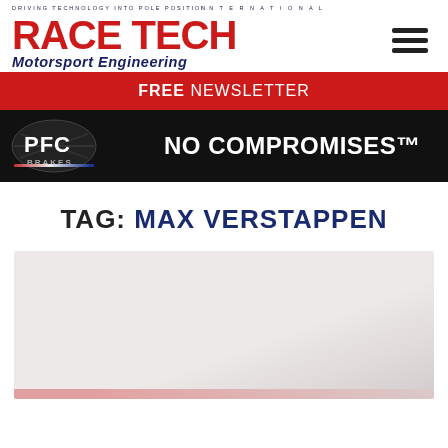[Figure (logo): Race Tech International Motorsport Engineering magazine logo with tagline 'Driving Technology into Pole Position' and hamburger menu icon]
FREE NEWSLETTER
[Figure (logo): PFC Brakes advertisement banner with logo and tagline 'NO COMPROMISES™' on black background]
TAG: MAX VERSTAPPEN
[Figure (photo): Article thumbnail image placeholder, light grey background]